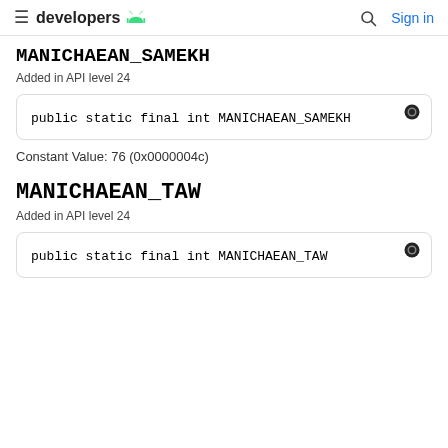developers  Sign in
MANICHAEAN_SAMEKH
Added in API level 24
public static final int MANICHAEAN_SAMEKH
Constant Value: 76 (0x0000004c)
MANICHAEAN_TAW
Added in API level 24
public static final int MANICHAEAN_TAW